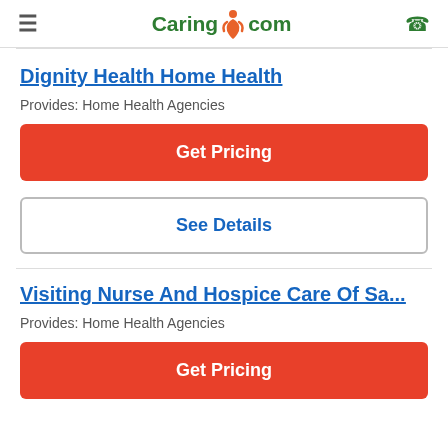Caring.com
Dignity Health Home Health
Provides: Home Health Agencies
Get Pricing
See Details
Visiting Nurse And Hospice Care Of Sa...
Provides: Home Health Agencies
Get Pricing